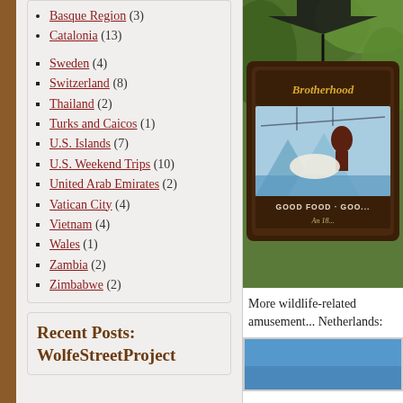Basque Region (3)
Catalonia (13)
Sweden (4)
Switzerland (8)
Thailand (2)
Turks and Caicos (1)
U.S. Islands (7)
U.S. Weekend Trips (10)
United Arab Emirates (2)
Vatican City (4)
Vietnam (4)
Wales (1)
Zambia (2)
Zimbabwe (2)
[Figure (photo): A wooden sign reading 'Brotherhood' with an illustrated scene of a figure against a seascape, text 'GOOD FOOD · GOO...' and date 'An 18...' on a dark wooden frame, surrounded by green foliage.]
More wildlife-related amusement... Netherlands:
[Figure (photo): Blue sky photo, partially visible at bottom right.]
Recent Posts: WolfeStreetProject